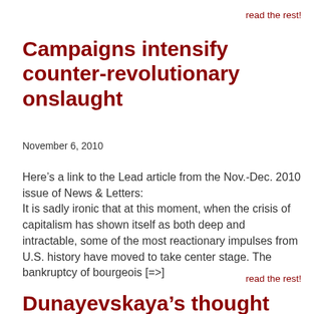read the rest!
Campaigns intensify counter-revolutionary onslaught
November 6, 2010
Here’s a link to the Lead article from the Nov.-Dec. 2010 issue of News & Letters:
It is sadly ironic that at this moment, when the crisis of capitalism has shown itself as both deep and intractable, some of the most reactionary impulses from U.S. history have moved to take center stage. The bankruptcy of bourgeois [=>]
read the rest!
Dunayevskaya’s thought alive in Latin America